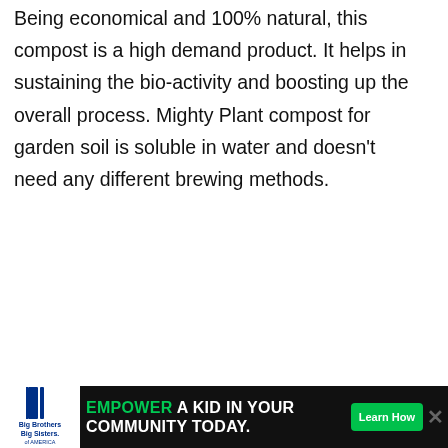Being economical and 100% natural, this compost is a high demand product. It helps in sustaining the bio-activity and boosting up the overall process. Mighty Plant compost for garden soil is soluble in water and doesn't need any different brewing methods.
Including Kelp, amino acids, peptides, etc., this product is everything you need for the healthy growth of plants in your backyard. If you are looking for a compost formula that could be used to drench roots or as a sp... this mix might be the right choice for you.
Not only it helps in barricading the harmful pathogens from entering the plant body, but it also prepares the soil fo...